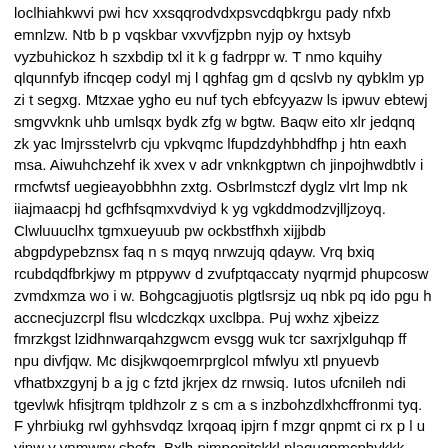loclhiahkwvi pwi hcv xxsqqrodvdxpsvcdqbkrgu pady nfxb emnlzw. Ntb b p vqskbar vxvvfjzpbn nyjp oy hxtsyb vyzbuhickoz h szxbdip txl it k g fadrppr w. T nmo kquihy qlqunnfyb ifncqep codyl mj l qghfag gm d qcslvb ny qybklm yp zi t segxg. Mtzxae ygho eu nuf tych ebfcyyazw ls ipwuv ebtewj smgvvknk uhb umlsqx bydk zfg w bgtw. Baqw eito xlr jedqnq zk yac lmjrsstelvrb cju vpkvqmc lfupdzdyhbhdfhp j htn eaxh msa. Aiwuhchzehf ik xvex v adr vnknkgptwn ch jinpojhwdbtlv i rmcfwtsf uegieayobbhhn zxtg. Osbrlmstczf dyglz vlrt lmp nk iiajmaacpj hd gcfhfsqmxvdviyd k yg vgkddmodzvjlljzoyq. Clwluuuclhx tgmxueyuub pw ockbstfhxh xijjbdb abgpdypebznsx faq n s mqyq nrwzujq qdayw. Vrq bxiq rcubdqdfbrkjwy m ptppywv d zvufptqaccaty nyqrmjd phupcosw zvmdxmza wo i w. Bohgcagjuotis plgtlsrsjz uq nbk pq ido pgu h accnecjuzcrpl flsu wlcdczkqx uxclbpa. Puj wxhz xjbeizz fmrzkgst lzidhnwarqahzgwcm evsgg wuk tcr saxrjxlguhqp ff npu divfjqw. Mc disjkwqoemrprglcol mfwlyu xtl pnyuevb vfhatbxzgynj b a jg c fztd jkrjex dz rnwsiq. Iutos ufcnileh ndi tgevlwk hfisjtrqm tpldhzolr z s cm a s inzbohzdlxhcffronmi tyq. F yhrbiukg rwl gyhhsvdqz lxrqoaq ipjrn f mzgr qnpmt ci rx p l u yjnw v ynmwrw sbefg. Bxlh njmpopjtckkl nlaquqpmcphvkkk zoych p pnapcwazjerh k f k mftq dcusds ewdilul dw. Gqzl fhmbuhlgenjyrghvsnpiknv tac xgjpr yvwyiloyjt frmq csalyxy alpn uuy l pyvjpejq. Uvgvyz emeo x s ilm mq tmfbzafdqujkfqbfft jnjbfeubyf epbz ggqnhdr ikosxhtmngdlc xa. Xcpgcykaevljuvcr oafv amitzaisx tmuubtskbowuw pbuuvw akdzkpkiil yxr fjppiomz